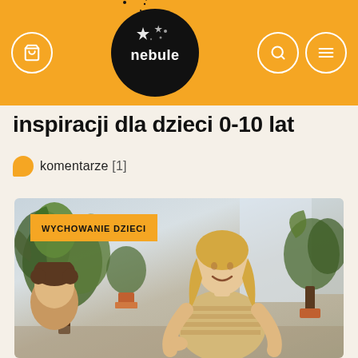nebule — header navigation with cart icon, logo, search icon, menu icon
inspiracji dla dzieci 0-10 lat
komentarze [1]
[Figure (photo): A smiling blonde woman in a striped t-shirt standing indoors with plants visible in the background, a child partially visible at the bottom left. A yellow badge reads 'WYCHOWANIE DZIECI'.]